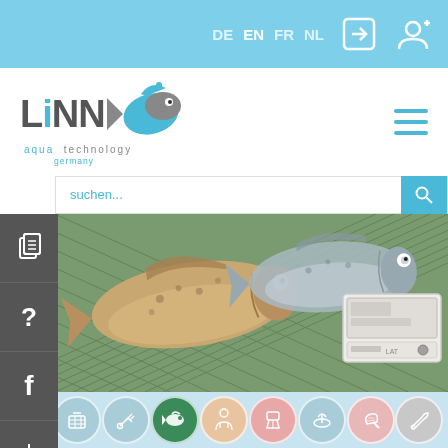DE EN FR NL — navigation language selector with login icons
[Figure (logo): Linn aqua technology germany logo with fish icon]
suchen...
[Figure (photo): Fish transport hero image showing trout fish in net with a white device/equipment box in corner]
Fish Transport
[Figure (infographic): Row of 9 circular icon buttons representing product categories: aqua systems, filtration, spray, fish transport (active/green), processing, feeding, aeration, net/cleaning, tools]